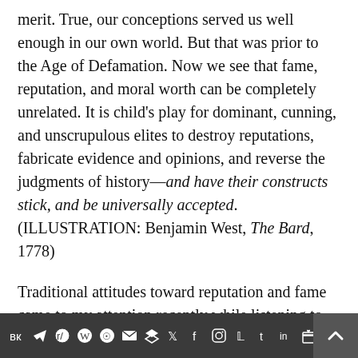merit. True, our conceptions served us well enough in our own world. But that was prior to the Age of Defamation. Now we see that fame, reputation, and moral worth can be completely unrelated. It is child's play for dominant, cunning, and unscrupulous elites to destroy reputations, fabricate evidence and opinions, and reverse the judgments of history—and have their constructs stick, and be universally accepted. (ILLUSTRATION: Benjamin West, The Bard, 1778)
Traditional attitudes toward reputation and fame came to my attention recently while listening to an online lecture about the Greek historian
[social media icons bar]